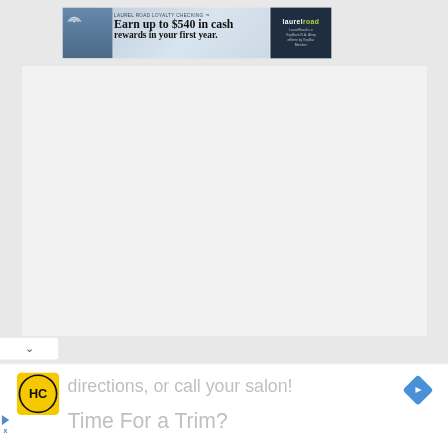[Figure (infographic): Laurel Road Loyalty Checking banner advertisement. Left side shows a man holding a phone with text 'LAUREL ROAD LOYALTY CHECKING™ Earn up to $540 in cash rewards in your first year.' Right side shows dark navy Laurel Road logo panel with small text.]
[Figure (screenshot): Large light gray/white blank content area below the banner ad]
[Figure (infographic): Bottom section showing HC (Hair Club) yellow logo, text 'directions, or call your salon!' in gray, navigation arrow icon in blue diamond shape, and text 'Time For a Trim?' in gray. Also a small play/ad indicator on the left.]